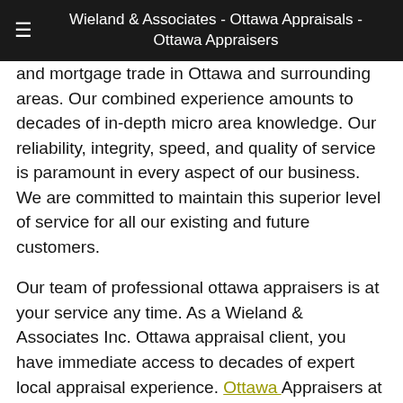Wieland & Associates - Ottawa Appraisals - Ottawa Appraisers
and mortgage trade in Ottawa and surrounding areas. Our combined experience amounts to decades of in-depth micro area knowledge. Our reliability, integrity, speed, and quality of service is paramount in every aspect of our business.  We are committed to maintain this superior level of service for all our existing and future customers.

Our team of professional ottawa appraisers is at your service any time. As a Wieland & Associates Inc. Ottawa appraisal client, you have immediate access to decades of expert local appraisal experience. Ottawa Appraisers at Wieland & Associates have experience in all types of real estate properties and are highly specialized in residential mortgage financing, division of assets / matrimonial, relocation's, new construction projects, capital gains, pre-lists, assessment appeals and estate settlements.